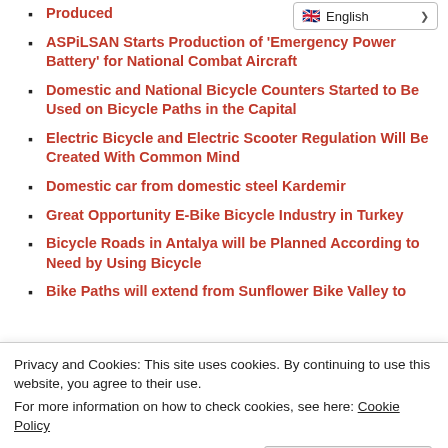Produced
[Figure (screenshot): Language selector dropdown showing English with flag icon]
ASPiLSAN Starts Production of 'Emergency Power Battery' for National Combat Aircraft
Domestic and National Bicycle Counters Started to Be Used on Bicycle Paths in the Capital
Electric Bicycle and Electric Scooter Regulation Will Be Created With Common Mind
Domestic car from domestic steel Kardemir
Great Opportunity E-Bike Bicycle Industry in Turkey
Bicycle Roads in Antalya will be Planned According to Need by Using Bicycle
Bike Paths will extend from Sunflower Bike Valley to
Privacy and Cookies: This site uses cookies. By continuing to use this website, you agree to their use. For more information on how to check cookies, see here: Cookie Policy
OK
Tandem Bicycle Good News on World Bicycle Day